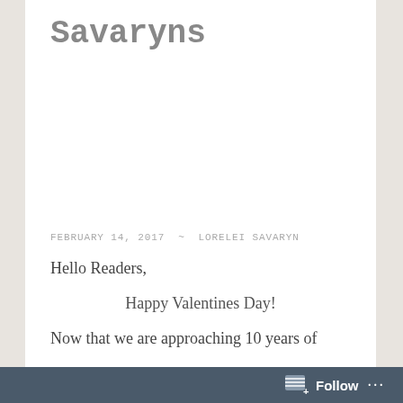Savaryns
FEBRUARY 14, 2017 ~ LORELEI SAVARYN
Hello Readers,
Happy Valentines Day!
Now that we are approaching 10 years of
Follow ...